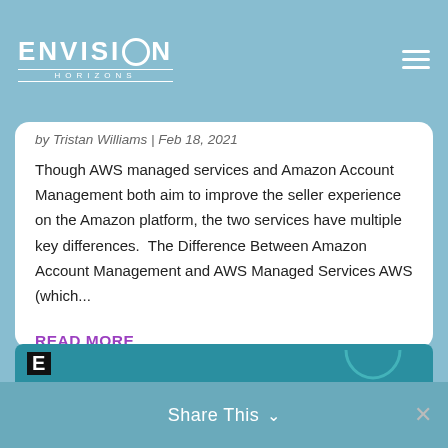ENVISION HORIZONS
by Tristan Williams | Feb 18, 2021
Though AWS managed services and Amazon Account Management both aim to improve the seller experience on the Amazon platform, the two services have multiple key differences.  The Difference Between Amazon Account Management and AWS Managed Services AWS (which...
READ MORE
Share This